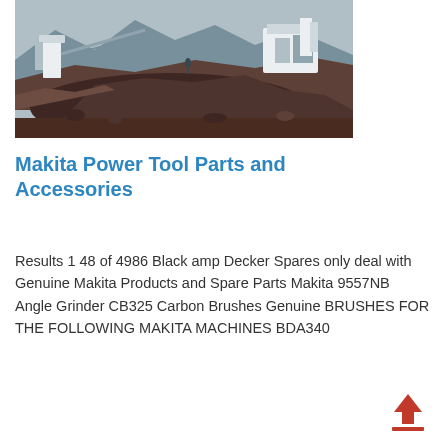[Figure (photo): Aerial/elevated view of a mining or quarry site with industrial machinery, conveyor belts, crushers, and a large pile of excavated dark earth/rock material. Buildings and equipment visible in the background against a hilly landscape.]
Makita Power Tool Parts and Accessories
Results 1 48 of 4986 Black amp Decker Spares only deal with Genuine Makita Products and Spare Parts Makita 9557NB Angle Grinder CB325 Carbon Brushes Genuine BRUSHES FOR THE FOLLOWING MAKITA MACHINES BDA340
[Figure (illustration): A red upward-pointing arrow icon above a horizontal red line, representing an upload button.]